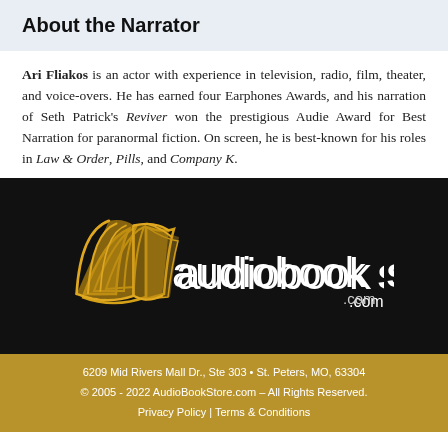About the Narrator
Ari Fliakos is an actor with experience in television, radio, film, theater, and voice-overs. He has earned four Earphones Awards, and his narration of Seth Patrick's Reviver won the prestigious Audie Award for Best Narration for paranormal fiction. On screen, he is best-known for his roles in Law & Order, Pills, and Company K.
[Figure (logo): AudioBookStore.com logo with stylized open book icon in gold and white text on black background]
6209 Mid Rivers Mall Dr., Ste 303 • St. Peters, MO, 63304
© 2005 - 2022 AudioBookStore.com – All Rights Reserved.
Privacy Policy | Terms & Conditions